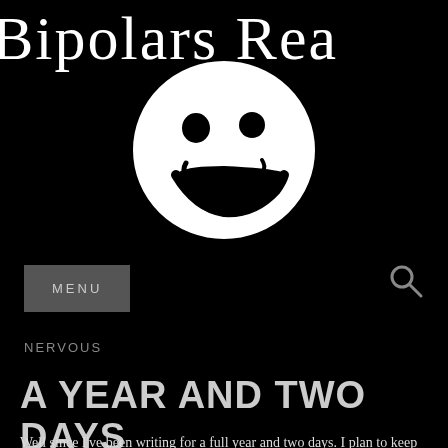Bipolars Rea
[Figure (logo): White smiley face circle logo on black background — a round face with dot eyes, small comma-like marks near mouth, and a curved smile drawn in a sketchy style]
MENU
NERVOUS
A YEAR AND TWO DAYS
Well since I've been writing for a full year and two days. I plan to keep writing every day this year as well. I hope that I can get up two years